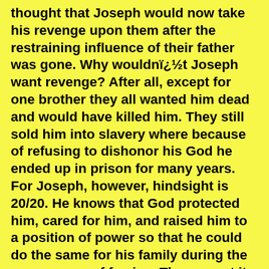thought that Joseph would now take his revenge upon them after the restraining influence of their father was gone. Why wouldnï¿½t Joseph want revenge? After all, except for one brother they all wanted him dead and would have killed him. They still sold him into slavery where because of refusing to dishonor his God he ended up in prison for many years. For Joseph, however, hindsight is 20/20. He knows that God protected him, cared for him, and raised him to a position of power so that he could do the same for his family during the seven years of famine. They meant it for evil but God used it for much good.